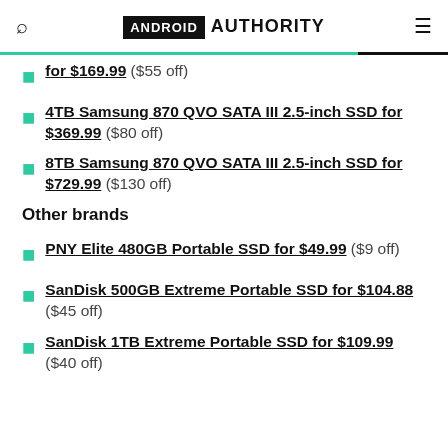ANDROID AUTHORITY
for $169.99 ($55 off)
4TB Samsung 870 QVO SATA III 2.5-inch SSD for $369.99 ($80 off)
8TB Samsung 870 QVO SATA III 2.5-inch SSD for $729.99 ($130 off)
Other brands
PNY Elite 480GB Portable SSD for $49.99 ($9 off)
SanDisk 500GB Extreme Portable SSD for $104.88 ($45 off)
SanDisk 1TB Extreme Portable SSD for $109.99 ($40 off)